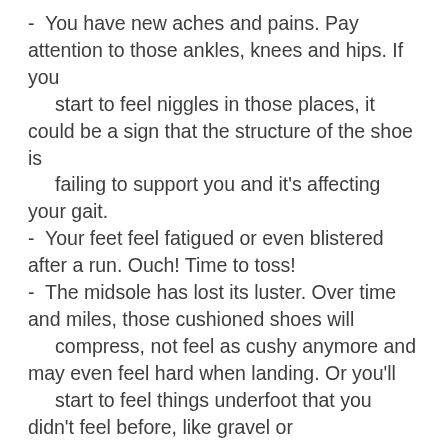- You have new aches and pains. Pay attention to those ankles, knees and hips. If you start to feel niggles in those places, it could be a sign that the structure of the shoe is failing to support you and it’s affecting your gait.
- Your feet feel fatigued or even blistered after a run. Ouch! Time to toss!
- The midsole has lost its luster. Over time and miles, those cushioned shoes will compress, not feel as cushy anymore and may even feel hard when landing. Or you’ll start to feel things underfoot that you didn’t feel before, like gravel or